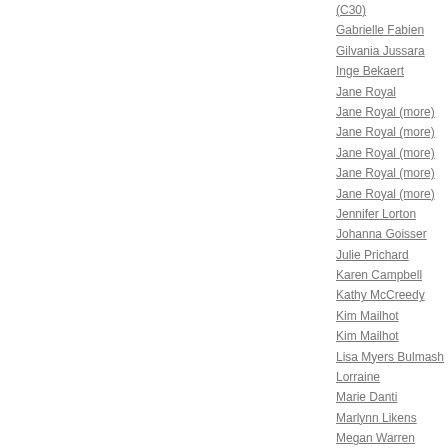(C30)
Gabrielle Fabien
Gilvania Jussara
Inge Bekaert
Jane Royal
Jane Royal (more)
Jane Royal (more)
Jane Royal (more)
Jane Royal (more)
Jane Royal (more)
Jennifer Lorton
Johanna Goisser
Julie Prichard
Karen Campbell
Kathy McCreedy
Kim Mailhot
Kim Mailhot
Lisa Myers Bulmash
Lorraine
Marie Danti
Marlynn Likens
Megan Warren